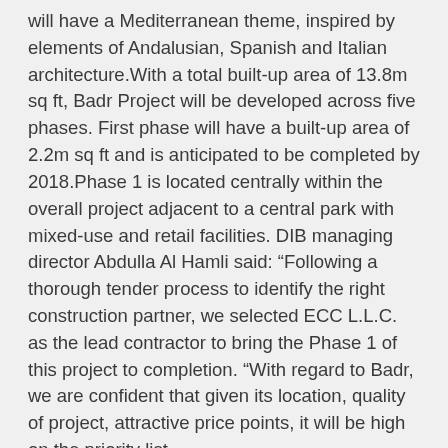will have a Mediterranean theme, inspired by elements of Andalusian, Spanish and Italian architecture.With a total built-up area of 13.8m sq ft, Badr Project will be developed across five phases. First phase will have a built-up area of 2.2m sq ft and is anticipated to be completed by 2018.Phase 1 is located centrally within the overall project adjacent to a central park with mixed-use and retail facilities. DIB managing director Abdulla Al Hamli said: “Following a thorough tender process to identify the right construction partner, we selected ECC L.L.C. as the lead contractor to bring the Phase 1 of this project to completion. “With regard to Badr, we are confident that given its location, quality of project, attractive price points, it will be high on the priority list